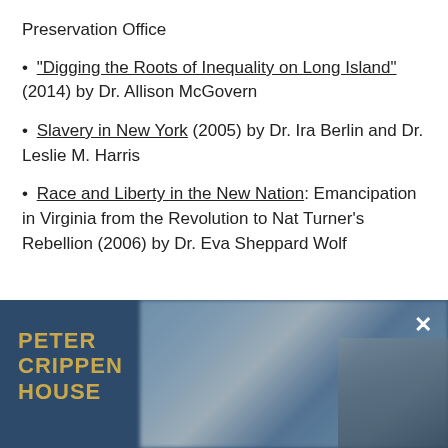Preservation Office
• "Digging the Roots of Inequality on Long Island" (2014) by Dr. Allison McGovern
• Slavery in New York (2005) by Dr. Ira Berlin and Dr. Leslie M. Harris
• Race and Liberty in the New Nation: Emancipation in Virginia from the Revolution to Nat Turner's Rebellion (2006) by Dr. Eva Sheppard Wolf
[Figure (screenshot): Video thumbnail with dark blue background showing 'PETER CRIPPEN HOUSE' text in gold on the left, a blurred outdoor/portrait scene in the center-right, and a close (X) button in the top right corner.]